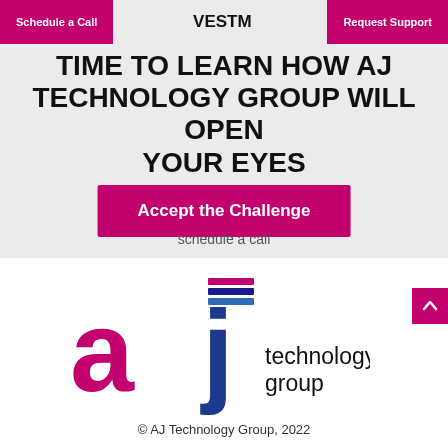Schedule a Call  VESTM  Request Support
TIME TO LEARN HOW AJ TECHNOLOGY GROUP WILL OPEN YOUR EYES
Accept the Challenge
schedule a call
[Figure (logo): AJ Technology Group logo: stylized 'a' in magenta and 'j' in blue with colored stripes on top, followed by 'technology group' in black text]
© AJ Technology Group, 2022